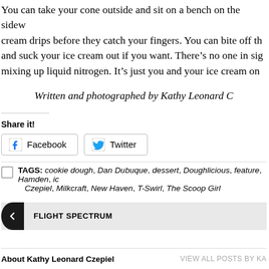You can take your cone outside and sit on a bench on the sidewalk and let the ice cream drips before they catch your fingers. You can bite off the bottom of the cone and suck your ice cream out if you want. There's no one in sight mixing up liquid nitrogen. It's just you and your ice cream on
Written and photographed by Kathy Leonard Czepiel
Share it!
Facebook
Twitter
TAGS: cookie dough, Dan Dubuque, dessert, Doughlicious, feature, Hamden, ic... Czepiel, Milkcraft, New Haven, T-Swirl, The Scoop Girl
FLIGHT SPECTRUM
About Kathy Leonard Czepiel
VIEW ALL POSTS BY KA